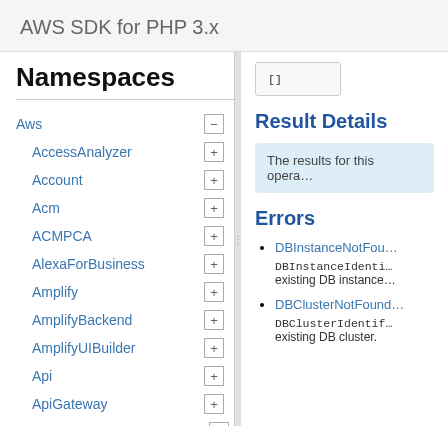AWS SDK for PHP 3.x
Namespaces
Aws
AccessAnalyzer
Account
Acm
ACMPCA
AlexaForBusiness
Amplify
AmplifyBackend
AmplifyUIBuilder
Api
ApiGateway
ApiGatewayManagementApi
[]
Result Details
The results for this opera…
Errors
DBInstanceNotFou… DBInstanceIdenti… existing DB instance…
DBClusterNotFound DBClusterIdentif… existing DB cluster.